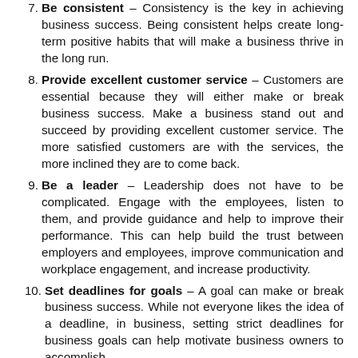7. Be consistent – Consistency is the key in achieving business success. Being consistent helps create long-term positive habits that will make a business thrive in the long run.
8. Provide excellent customer service – Customers are essential because they will either make or break business success. Make a business stand out and succeed by providing excellent customer service. The more satisfied customers are with the services, the more inclined they are to come back.
9. Be a leader – Leadership does not have to be complicated. Engage with the employees, listen to them, and provide guidance and help to improve their performance. This can help build the trust between employers and employees, improve communication and workplace engagement, and increase productivity.
10. Set deadlines for goals – A goal can make or break business success. While not everyone likes the idea of a deadline, in business, setting strict deadlines for business goals can help motivate business owners to accomplish